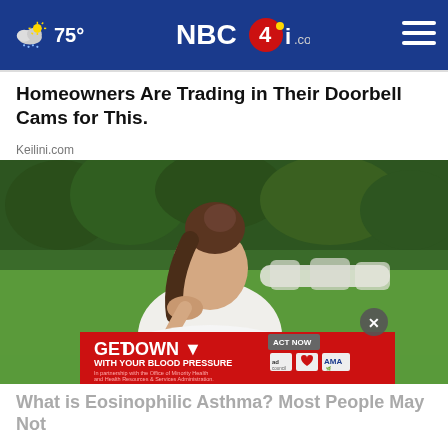75° NBC4i.com
Homeowners Are Trading in Their Doorbell Cams for This.
Keilini.com
[Figure (photo): Young woman in white athletic top with hair in bun, bending forward and touching her throat/neck outdoors with green grass and trees in background. An advertisement overlay reads 'GET DOWN WITH YOUR BLOOD PRESSURE' with ACT NOW button, ad council logo, heart logo, and AMA logo. A circular close button with X is visible.]
What is Eosinophilic Asthma? Most People May Not